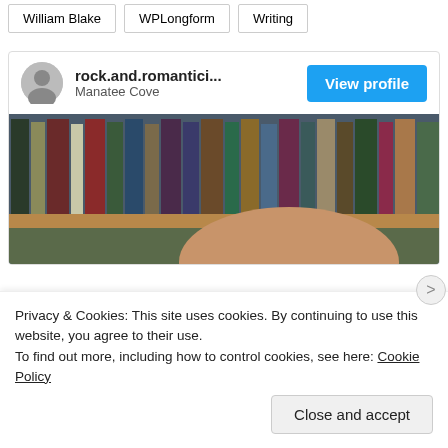William Blake
WPLongform
Writing
rock.and.romantici...
Manatee Cove
[Figure (photo): Profile card showing user rock.and.romantici... from Manatee Cove with a photo of a bookshelf and top of a person's head]
Privacy & Cookies: This site uses cookies. By continuing to use this website, you agree to their use.
To find out more, including how to control cookies, see here: Cookie Policy
Close and accept